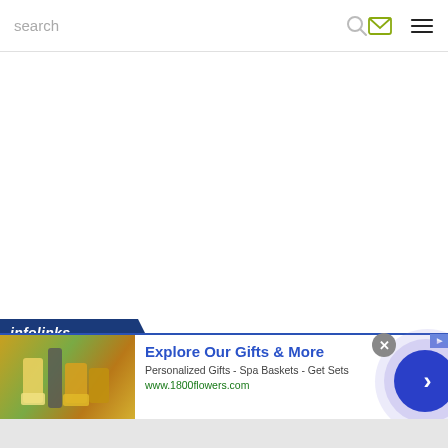search
[Figure (screenshot): Web page header with search text, search icon, envelope icon, and hamburger menu icon]
[Figure (infographic): Infolinks advertisement banner showing '1800flowers.com' ad: 'Explore Our Gifts & More', 'Personalized Gifts - Spa Baskets - Get Sets', 'www.1800flowers.com' with product image, close button, and arrow navigation button]